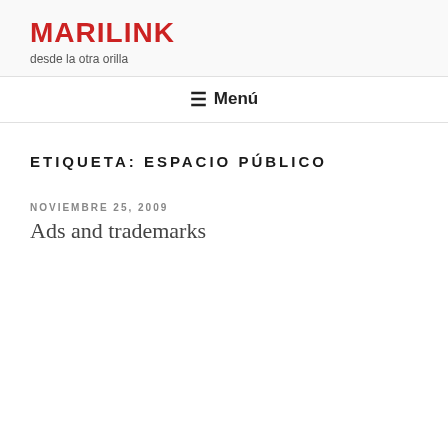MARILINK
desde la otra orilla
≡ Menú
ETIQUETA: ESPACIO PÚBLICO
NOVIEMBRE 25, 2009
Ads and trademarks